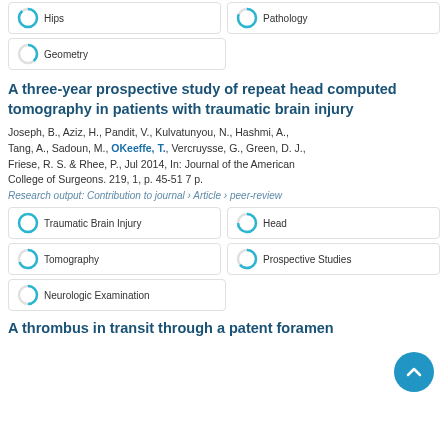[Figure (other): Hips badge with circular progress icon]
[Figure (other): Pathology badge with circular progress icon]
[Figure (other): Geometry badge with circular progress icon]
A three-year prospective study of repeat head computed tomography in patients with traumatic brain injury
Joseph, B., Aziz, H., Pandit, V., Kulvatunyou, N., Hashmi, A., Tang, A., Sadoun, M., OKeeffe, T., Vercruysse, G., Green, D. J., Friese, R. S. & Rhee, P., Jul 2014, In: Journal of the American College of Surgeons. 219, 1, p. 45-51 7 p.
Research output: Contribution to journal › Article › peer-review
[Figure (other): Traumatic Brain Injury badge with circular progress icon ~100%]
[Figure (other): Head badge with circular progress icon ~75%]
[Figure (other): Tomography badge with circular progress icon ~70%]
[Figure (other): Prospective Studies badge with circular progress icon ~65%]
[Figure (other): Neurologic Examination badge with circular progress icon ~50%]
A thrombus in transit through a patent foramen